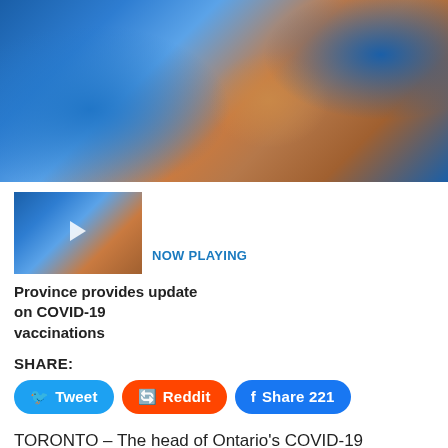[Figure (photo): Close-up photo of blue-gloved hands holding a COVID-19 vaccine vial]
[Figure (photo): Thumbnail of blue-gloved hands with vaccine vial, with NOW PLAYING label]
NOW PLAYING
Province provides update on COVID-19 vaccinations
SHARE:
Tweet
Reddit
Share 221
TORONTO – The head of Ontario's COVID-19 vaccination task force says that COVID-19 vaccines were given to non-front-line staff, including people who work from home, because hospitals didn't want to waste doses